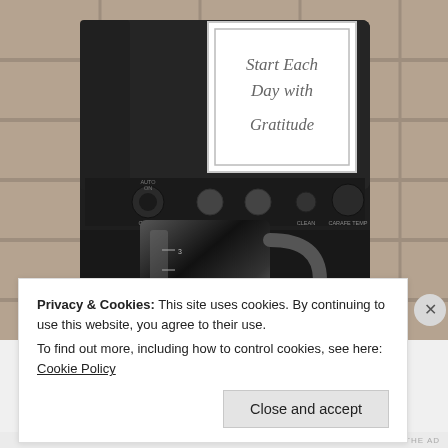[Figure (photo): A black coffee maker on a tiled backsplash. A white note card is propped on top of the machine reading 'Start Each Day with Gratitude' in cursive script, surrounded by a decorative border. A black carafe sits in the machine's base.]
Privacy & Cookies: This site uses cookies. By continuing to use this website, you agree to their use.
To find out more, including how to control cookies, see here: Cookie Policy
Close and accept